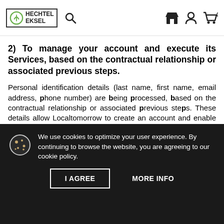HECHTEL EKSEL
2) To manage your account and execute its Services, based on the contractual relationship or associated previous steps.
Personal identification details (last name, first name, email address, phone number) are being processed, based on the contractual relationship or associated previous steps. These details allow Localtomorrow to create an account and enable the Services. Moreover, the contact details will only be used in the context of customer service.
We use cookies to optimize your user experience. By continuing to browse the website, you are agreeing to our cookie policy.